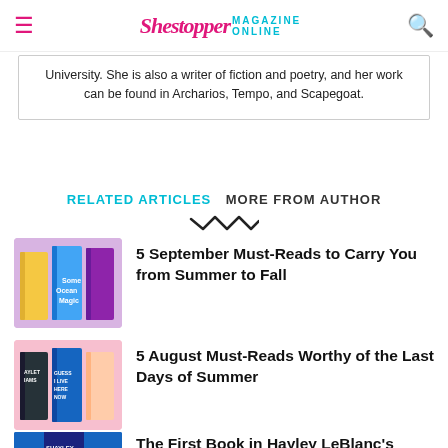Shestopper Magazine Online
University. She is also a writer of fiction and poetry, and her work can be found in Archarios, Tempo, and Scapegoat.
RELATED ARTICLES   MORE FROM AUTHOR
5 September Must-Reads to Carry You from Summer to Fall
5 August Must-Reads Worthy of the Last Days of Summer
The First Book in Hayley LeBlanc's